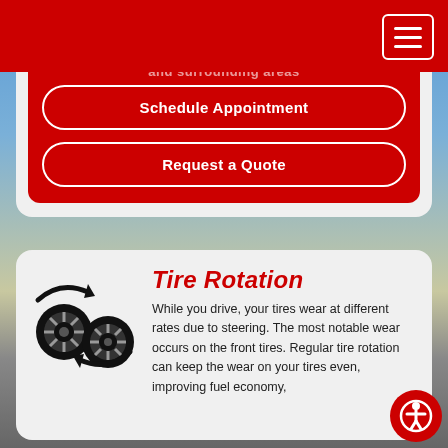and surrounding areas
Schedule Appointment
Request a Quote
Tire Rotation
[Figure (illustration): Two tire rotation icon showing two wheels with circular arrows indicating rotation]
While you drive, your tires wear at different rates due to steering. The most notable wear occurs on the front tires. Regular tire rotation can keep the wear on your tires even, improving fuel economy,